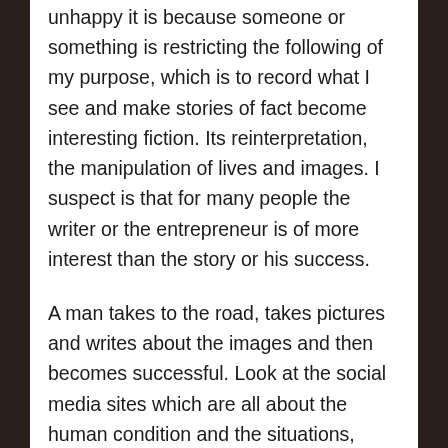unhappy it is because someone or something is restricting the following of my purpose, which is to record what I see and make stories of fact become interesting fiction. Its reinterpretation, the manipulation of lives and images. I suspect is that for many people the writer or the entrepreneur is of more interest than the story or his success.
A man takes to the road, takes pictures and writes about the images and then becomes successful. Look at the social media sites which are all about the human condition and the situations, problems, winners, losers, birth, illness, death or marriage which strangers enter into. The demand for peoples stories is incredible. And those who write the stories can never fulfil the demand, because stories whether fact of fiction are like lessons in an exercise